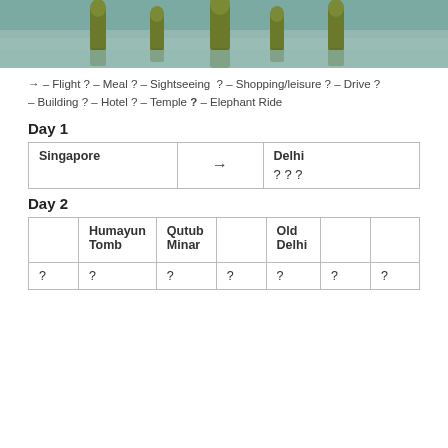[Figure (photo): Photo of ornamental structures reflected in water, showing golden/green dome-like ornaments against a teal/blue background]
✈ – Flight ? – Meal ? – Sightseeing ? – Shopping/leisure ? – Drive ? – Building ? – Hotel ? – Temple ? – Elephant Ride
Day 1
| Singapore | ✈ | Delhi |
|  |  | ? ? ? |
Day 2
|  | Humayun Tomb | Qutub Minar |  | Old Delhi |  |  |
| ? | ? | ? | ? | ? | ? | ? |